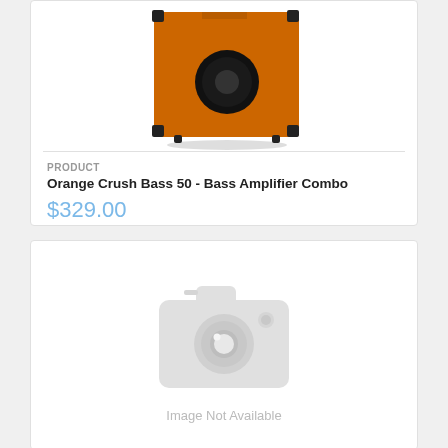[Figure (photo): Orange Crush Bass 50 amplifier combo with orange fabric covering and black speaker cone, partially cropped at top]
PRODUCT
Orange Crush Bass 50 - Bass Amplifier Combo
$329.00
[Figure (photo): Image Not Available placeholder with camera icon]